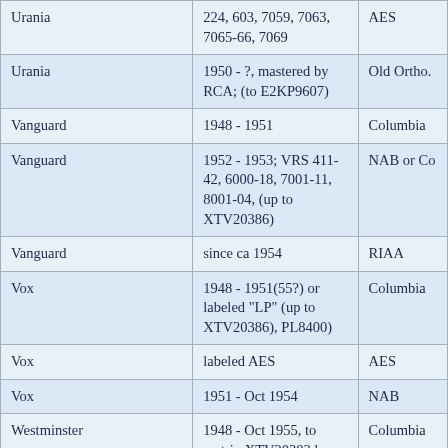| Urania | 224, 603, 7059, 7063, 7065-66, 7069 | AES |
| Urania | 1950 - ?, mastered by RCA; (to E2KP9607) | Old Ortho. |
| Vanguard | 1948 - 1951 | Columbia |
| Vanguard | 1952 - 1953; VRS 411-42, 6000-18, 7001-11, 8001-04, (up to XTV20386) | NAB or Co |
| Vanguard | since ca 1954 | RIAA |
| Vox | 1948 - 1951(55?) or labeled "LP" (up to XTV20386), PL8400) | Columbia |
| Vox | labeled AES | AES |
| Vox | 1951 - Oct 1954 | NAB |
| Westminster | 1948 - Oct 1955, to matrix XTV20383 low take nos. | Columbia |
| Westminster | labeled AES; to matrix | AES |